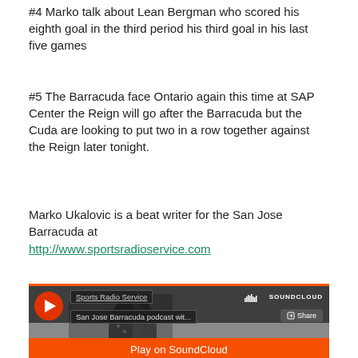#4 Marko talk about Lean Bergman who scored his eighth goal in the third period his third goal in his last five games
#5 The Barracuda face Ontario again this time at SAP Center the Reign will go after the Barracuda but the Cuda are looking to put two in a row together against the Reign later tonight.
Marko Ukalovic is a beat writer for the San Jose Barracuda at http://www.sportsradioservice.com
[Figure (screenshot): SoundCloud embedded player showing 'Sports Radio Service' channel with 'San Jose Barracuda podcast wit...' title, play button, share button, and 'Play on SoundCloud' orange bar at bottom]